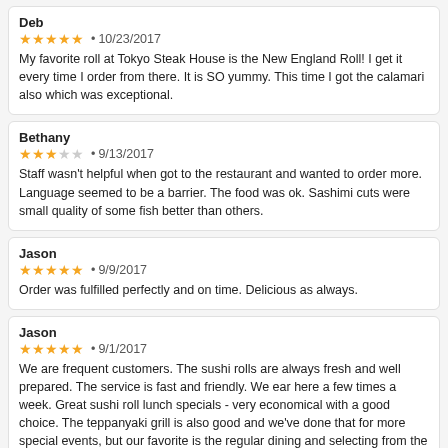Deb
★★★★★ • 10/23/2017
My favorite roll at Tokyo Steak House is the New England Roll! I get it every time I order from there. It is SO yummy. This time I got the calamari also which was exceptional.
Bethany
★★★☆☆ • 9/13/2017
Staff wasn't helpful when got to the restaurant and wanted to order more. Language seemed to be a barrier. The food was ok. Sashimi cuts were small quality of some fish better than others.
Jason
★★★★★ • 9/9/2017
Order was fulfilled perfectly and on time. Delicious as always.
Jason
★★★★★ • 9/1/2017
We are frequent customers. The sushi rolls are always fresh and well prepared. The service is fast and friendly. We ear here a few times a week. Great sushi roll lunch specials - very economical with a good choice. The teppanyaki grill is also good and we've done that for more special events, but our favorite is the regular dining and selecting from the weekly roll specials.
Karissa
★★★★★ • 9/1/2017